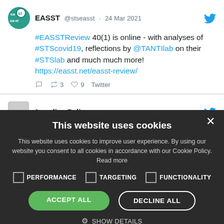[Figure (screenshot): Tweet from EASST (@stseasst) dated 24 Mar 2021 with hashtags #EASSTReview, #STScovid19, @TANTIlab, #STSlab and a link. Has reply, retweet (3), like (9) counts.]
[Figure (screenshot): Partial tweet from Annalisa Pelizza (@nisa00) dated 16 Dec 2020, partially obscured by cookie consent overlay.]
This website uses cookies
This website uses cookies to improve user experience. By using our website you consent to all cookies in accordance with our Cookie Policy. Read more
PERFORMANCE   TARGETING   FUNCTIONALITY
ACCEPT ALL   DECLINE ALL
SHOW DETAILS